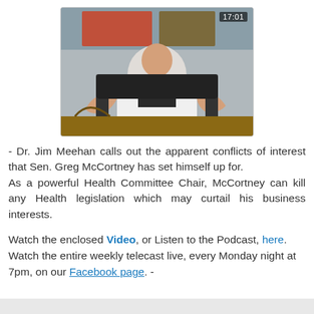[Figure (screenshot): Video thumbnail showing a man in a white doctor's coat seated at a desk, gesturing with his hands. A timestamp of 17:01 appears in the upper right corner of the video frame.]
- Dr. Jim Meehan calls out the apparent conflicts of interest that Sen. Greg McCortney has set himself up for. As a powerful Health Committee Chair, McCortney can kill any Health legislation which may curtail his business interests.
Watch the enclosed Video, or Listen to the Podcast, here. Watch the entire weekly telecast live, every Monday night at 7pm, on our Facebook page. -